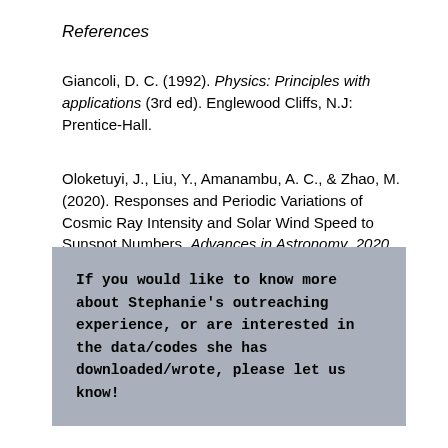References
Giancoli, D. C. (1992). Physics: Principles with applications (3rd ed). Englewood Cliffs, N.J: Prentice-Hall.
Oloketuyi, J., Liu, Y., Amanambu, A. C., & Zhao, M. (2020). Responses and Periodic Variations of Cosmic Ray Intensity and Solar Wind Speed to Sunspot Numbers. Advances in Astronomy, 2020, 3527570. https://doi.org/10.1155/2020/3527570
If you would like to know more about Stephanie's outreaching experience, or are interested in the data/codes she has downloaded/wrote, please let us know!